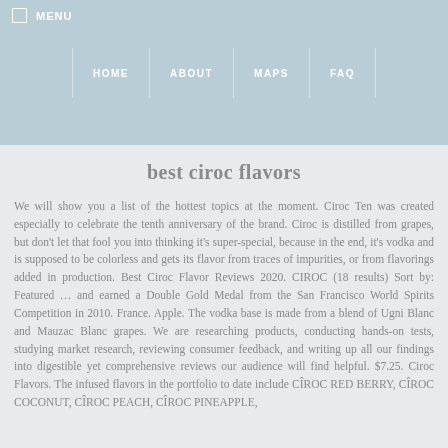MENU | HOME | ABOUT | MAPS | FAQ
best ciroc flavors
We will show you a list of the hottest topics at the moment. Ciroc Ten was created especially to celebrate the tenth anniversary of the brand. Ciroc is distilled from grapes, but don't let that fool you into thinking it's super-special, because in the end, it's vodka and is supposed to be colorless and gets its flavor from traces of impurities, or from flavorings added in production. Best Ciroc Flavor Reviews 2020. CIROC (18 results) Sort by: Featured … and earned a Double Gold Medal from the San Francisco World Spirits Competition in 2010. France. Apple. The vodka base is made from a blend of Ugni Blanc and Mauzac Blanc grapes. We are researching products, conducting hands-on tests, studying market research, reviewing consumer feedback, and writing up all our findings into digestible yet comprehensive reviews our audience will find helpful. $7.25. Ciroc Flavors. The infused flavors in the portfolio to date include CÎROC RED BERRY, CÎROC COCONUT, CÎROC PEACH, CÎROC PINEAPPLE,